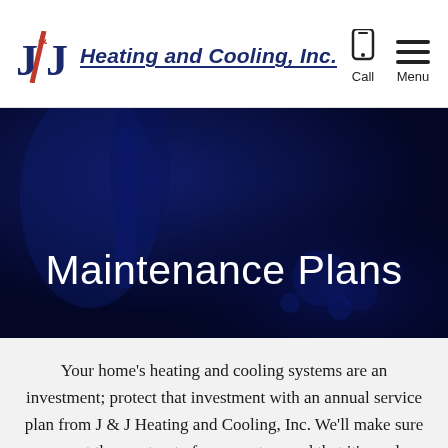J&J Heating and Cooling, Inc.
[Figure (photo): Dark blue toned photo of HVAC or heating/cooling equipment with text overlay 'Maintenance Plans']
Maintenance Plans
Your home’s heating and cooling systems are an investment; protect that investment with an annual service plan from J & J Heating and Cooling, Inc. We’ll make sure you get the most out of your system and that it’s ready when you need it.